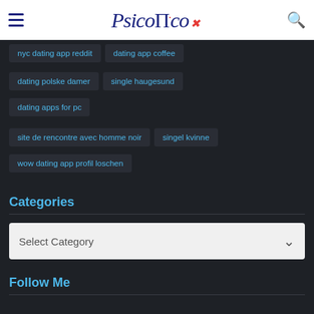PsicoПco
nyc dating app reddit
dating app coffee
dating polske damer
single haugesund
dating apps for pc
site de rencontre avec homme noir
singel kvinne
wow dating app profil loschen
Categories
Select Category
Follow Me